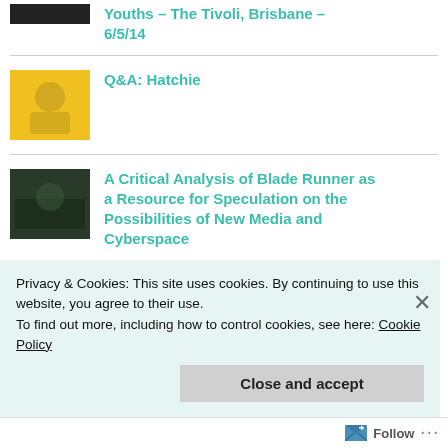Youths – The Tivoli, Brisbane – 6/5/14
Q&A: Hatchie
A Critical Analysis of Blade Runner as a Resource for Speculation on the Possibilities of New Media and Cyberspace
Record review: Best Coast –
Privacy & Cookies: This site uses cookies. By continuing to use this website, you agree to their use.
To find out more, including how to control cookies, see here: Cookie Policy
Close and accept
Follow